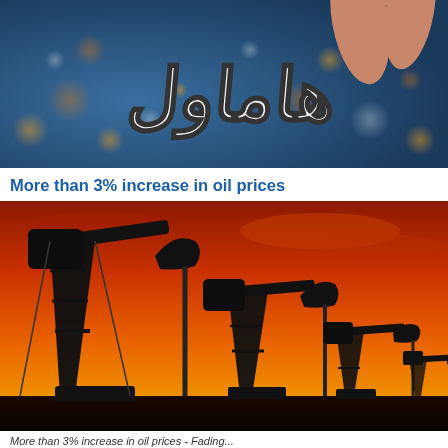[Figure (photo): Header banner image showing Arabic logo text (هاماول) in white outlined letters on a bokeh blue/orange background with hands raised in the upper right corner.]
More than 3% increase in oil prices
[Figure (photo): Silhouettes of oil pump jacks against a vivid orange and red sunset sky.]
More than 3% increase in oil prices - Fading...